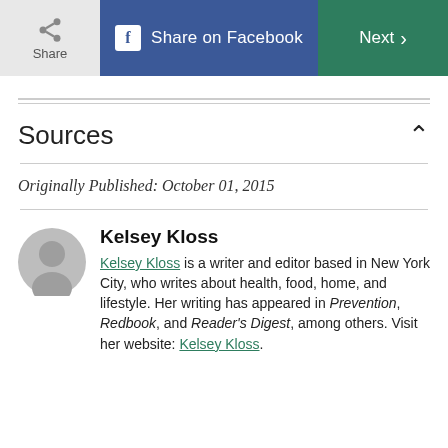Share | Share on Facebook | Next
Sources
Originally Published: October 01, 2015
Kelsey Kloss
Kelsey Kloss is a writer and editor based in New York City, who writes about health, food, home, and lifestyle. Her writing has appeared in Prevention, Redbook, and Reader's Digest, among others. Visit her website: Kelsey Kloss.